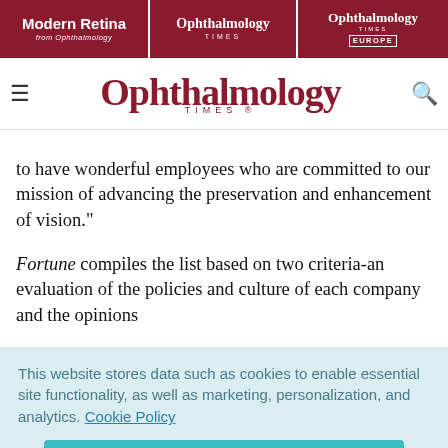Modern Retina | Ophthalmology Times | Ophthalmology Times Europe
[Figure (logo): Ophthalmology Times logo with hamburger menu and search icon]
to have wonderful employees who are committed to our mission of advancing the preservation and enhancement of vision."
Fortune compiles the list based on two criteria-an evaluation of the policies and culture of each company and the opinions
This website stores data such as cookies to enable essential site functionality, as well as marketing, personalization, and analytics. Cookie Policy
Accept
Deny